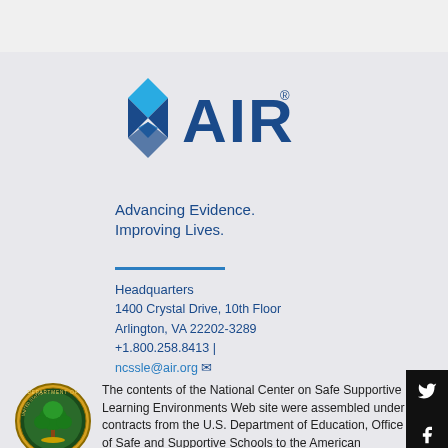[Figure (logo): AIR (American Institutes for Research) logo with diamond/arrow icon in blue and the text AIR with registered trademark symbol]
Advancing Evidence.
Improving Lives.
Headquarters
1400 Crystal Drive, 10th Floor
Arlington, VA 22202-3289
+1.800.258.8413 |
ncssle@air.org
[Figure (logo): U.S. Department of Education circular seal with green tree]
The contents of the National Center on Safe Supportive Learning Environments Web site were assembled under contracts from the U.S. Department of Education, Office of Safe and Supportive Schools to the American Institutes for